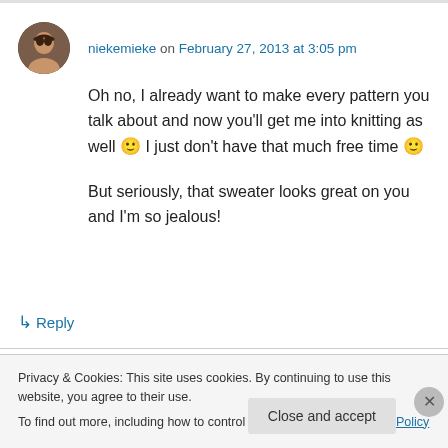niekemieke on February 27, 2013 at 3:05 pm
Oh no, I already want to make every pattern you talk about and now you'll get me into knitting as well 🙂 I just don't have that much free time 🙂

But seriously, that sweater looks great on you and I'm so jealous!
↳ Reply
Privacy & Cookies: This site uses cookies. By continuing to use this website, you agree to their use.
To find out more, including how to control cookies, see here: Cookie Policy
Close and accept